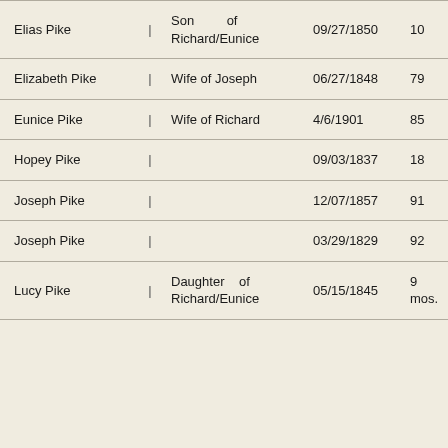| Name |  | Relationship | Date | Age | Ref |
| --- | --- | --- | --- | --- | --- |
| Elias Pike | | | Son of Richard/Eunice | 09/27/1850 | 10 | N/A |
| Elizabeth Pike | | | Wife of Joseph | 06/27/1848 | 79 | W-1812 |
| Eunice Pike | | | Wife of Richard | 4/6/1901 | 85 | N/A |
| Hopey Pike | | |  | 09/03/1837 | 18 | N/A |
| Joseph Pike | | |  | 12/07/1857 | 91 | N/A |
| Joseph Pike | | |  | 03/29/1829 | 92 | Rev. |
| Lucy Pike | | | Daughter of Richard/Eunice | 05/15/1845 | 9 mos. | N/A |